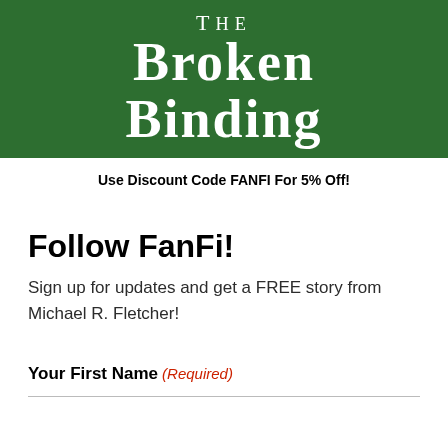[Figure (logo): The Broken Binding logo — white serif text on dark green background]
Use Discount Code FANFI For 5% Off!
Follow FanFi!
Sign up for updates and get a FREE story from Michael R. Fletcher!
Your First Name (Required)